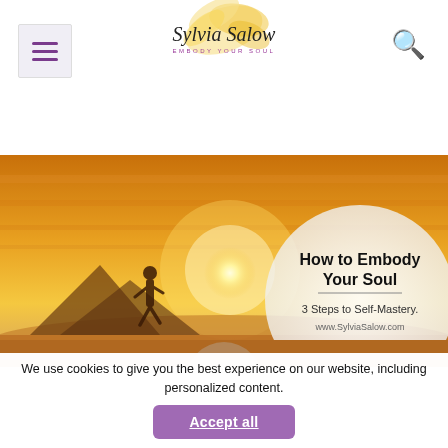Sylvia Salow — Embody Your Soul
[Figure (photo): Hero image showing a silhouette of a person running near water against a golden sunset sky, with a white circular overlay on the right side containing the text 'How to Embody Your Soul — 3 Steps to Self-Mastery. www.SylviaSalow.com']
We use cookies to give you the best experience on our website, including personalized content.
Accept all